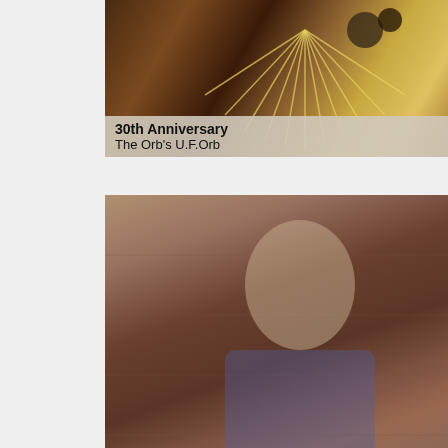[Figure (photo): Album art for The Orb's U.F.Orb — 30th Anniversary, with warm tones and abstract imagery]
30th Anniversary
The Orb's U.F.Orb
[Figure (photo): Portrait of John Waters in a colorful floral blazer, standing against a brick wall with sunglasses]
A Quietus Interview:
John Waters
[Figure (photo): Black and white / green tinted photo of figures in woodland or outdoor gathering scene — Quietus Lists: LPs Of 2022 Thus Far]
Quietus Lists:
LPs Of 2022 Thus Far
[Figure (photo): Partial view of an abstract concentric spiral or circular pattern in grayscale]